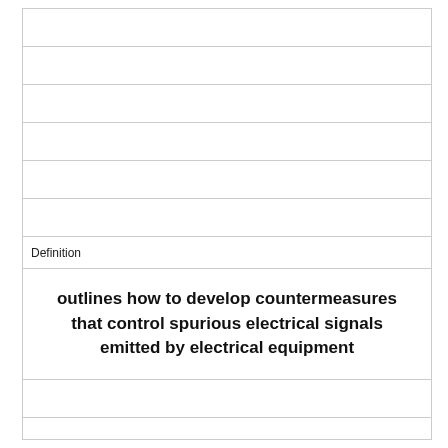Definition
outlines how to develop countermeasures that control spurious electrical signals emitted by electrical equipment
Term
White Noise